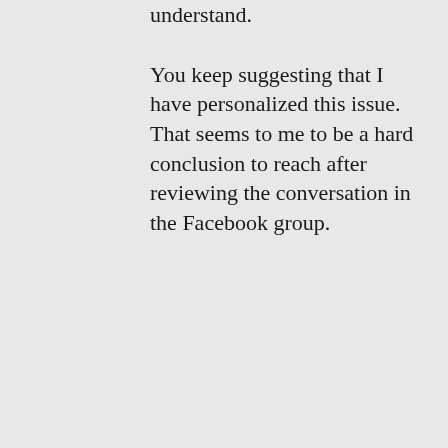understand.
You keep suggesting that I have personalized this issue. That seems to me to be a hard conclusion to reach after reviewing the conversation in the Facebook group.
★ Like
↳ Reply
Josh Feldman on October 27, 2013, 23:54 at 11:54 pm